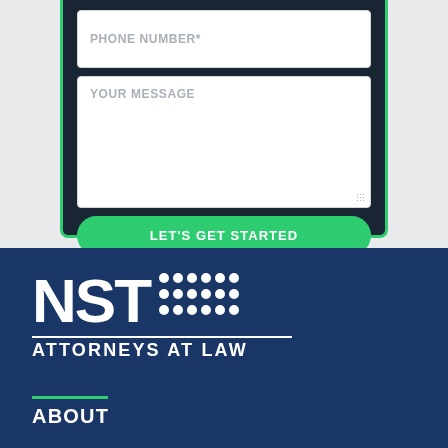[Figure (screenshot): Contact form screenshot showing PHONE NUMBER* input field, YOUR MESSAGE textarea, and a green LET'S GET STARTED button, displayed within a dark device frame with green border]
[Figure (logo): NST Attorneys at Law logo in white on dark navy background, featuring large NST letters with dot grid pattern and horizontal rules]
ABOUT